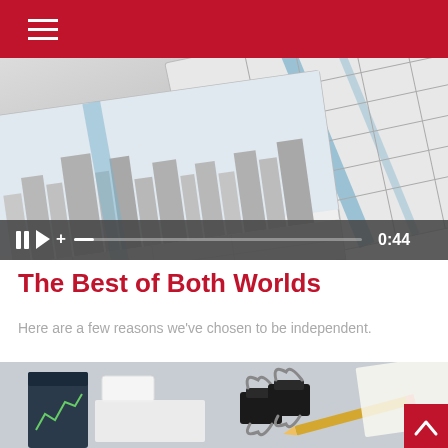Navigation menu
[Figure (screenshot): Video thumbnail showing tilted printed maps/documents with a city skyline illustration. Video controls bar at the bottom showing pause, play, volume icons, a progress bar, and a timestamp of 0:44.]
The Best of Both Worlds
Here are a few reasons we've chosen to be independent.
[Figure (photo): Photo of office supplies on a light blue surface: binder clips, a pencil, a small notebook with a chart, white eraser, and paper items.]